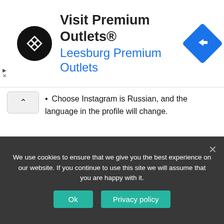[Figure (infographic): Advertisement banner: black circular logo with overlapping arrows, 'Visit Premium Outlets®' heading, 'Leesburg Premium Outlets' subtitle in blue, blue diamond navigation icon on the right, play/skip controls on left]
Choose Instagram is Russian, and the language in the profile will change.
When using the application
For Windows 8 users, as well as later versions, there is a separate application in Microsoft Store. Using it, it will become clear how to change the language in the profile. It is quite simple to make it:
We use cookies to ensure that we give you the best experience on our website. If you continue to use this site we will assume that you are happy with it.